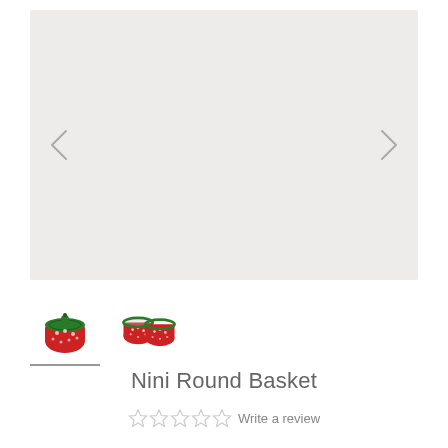[Figure (photo): Main product image area showing light pink/grey background with navigation arrows on left and right sides. Product image area is empty/blank in this view.]
[Figure (photo): Thumbnail 1: Small red strawberry-shaped round basket with green lid, viewed from front.]
[Figure (photo): Thumbnail 2: Small red strawberry-patterned round baskets, two shown side by side without lids.]
Nini Round Basket
Write a review